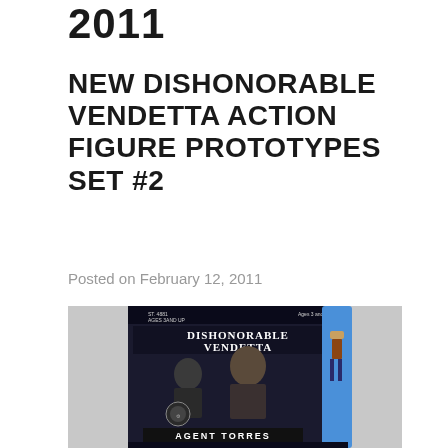2011
NEW DISHONORABLE VENDETTA ACTION FIGURE PROTOTYPES SET #2
Posted on February 12, 2011
[Figure (photo): Photo of a Dishonorable Vendetta action figure prototype in blister packaging labeled 'AGENT TORRES', showing two people on the card art background.]